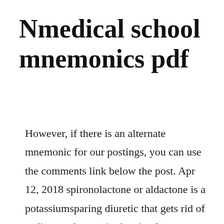Nmedical school mnemonics pdf
However, if there is an alternate mnemonic for our postings, you can use the comments link below the post. Apr 12, 2018 spironolactone or aldactone is a potassiumsparing diuretic that gets rid of sodium and water in the circulatory system while saving potassium in the blood. Dalia